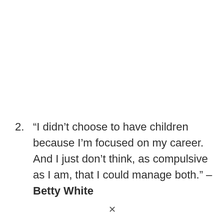2. “I didn’t choose to have children because I’m focused on my career. And I just don’t think, as compulsive as I am, that I could manage both.” – Betty White
✕